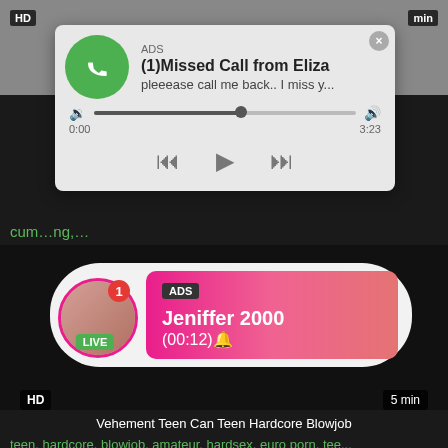[Figure (screenshot): Top portion of a video thumbnail with gray background, HD badge top-left, min badge top-right]
[Figure (screenshot): Fake phone notification popup: ADS label, (1)Missed Call from Eliza, pleeease call me back.. I miss y..., audio progress bar at ~55%, time 0:00 to 3:23, playback controls (rewind, play, fast-forward)]
cum...ng,...
[Figure (screenshot): Live notification overlay: avatar with pink border and red badge showing 1, LIVE green badge, ADS tag, Jeniffer 2000, (00:12) on pink-to-red gradient background]
HD
5 min
Vehement Teen Can Teen Hardcore Blowjob
teen, hardcore, blowjob, amateur, hardsex, euro porn, tee...